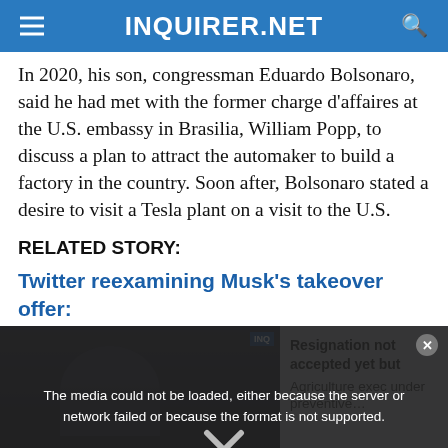INQUIRER.NET
In 2020, his son, congressman Eduardo Bolsonaro, said he had met with the former charge d'affaires at the U.S. embassy in Brasilia, William Popp, to discuss a plan to attract the automaker to build a factory in the country. Soon after, Bolsonaro stated a desire to visit a Tesla plant on a visit to the U.S.
RELATED STORY:
Twitter reexamining Musk's takeover offer:
[Figure (screenshot): Video player overlay showing a media error message: 'The media could not be loaded, either because the server or network failed or because the format is not supported.' On the left side a dark video thumbnail with text 'RESIGNATION NOT ACCEPTED YET BUT AGRI EXEC UNDER PREVENTIVE SUSPENSION'. On the right side lighter background with text 'Resignation not accepted yet but Agriculture exec under preventive…'. An X close button is shown at the bottom center.]